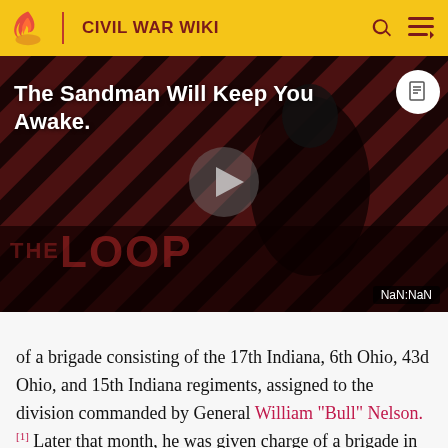CIVIL WAR WIKI
[Figure (screenshot): Video thumbnail with dark red diagonal stripe background, a figure in black, text 'The Sandman Will Keep You Awake.' and a play button. Shows 'THE LOOP' text watermark and 'NaN:NaN' timestamp badge.]
of a brigade consisting of the 17th Indiana, 6th Ohio, 43d Ohio, and 15th Indiana regiments, assigned to the division commanded by General William "Bull" Nelson.[1] Later that month, he was given charge of a brigade in Thomas J. Wood's division of Don Carlos Buell's forces in the Army of